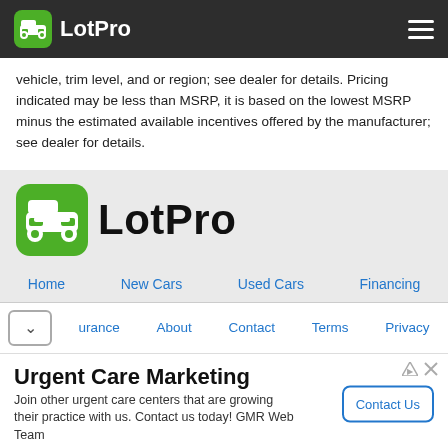[Figure (logo): LotPro logo in dark header navigation bar with hamburger menu icon]
vehicle, trim level, and or region; see dealer for details. Pricing indicated may be less than MSRP, it is based on the lowest MSRP minus the estimated available incentives offered by the manufacturer; see dealer for details.
[Figure (logo): LotPro large logo with green car icon and black LotPro text on light gray background]
Home   New Cars   Used Cars   Financing
✓  ...rance   About   Contact   Terms   Privacy
[Figure (screenshot): Advertisement: Urgent Care Marketing - Join other urgent care centers that are growing their practice with us. Contact us today! GMR Web Team - with Contact Us button]